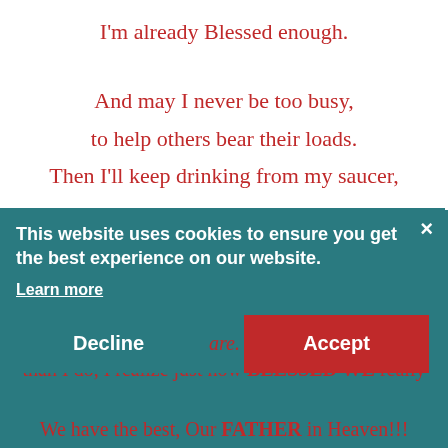I'm already Blessed enough.
And may I never be too busy,
to help others bear their loads.
Then I'll keep drinking from my saucer,
'Cause my cup has overflowed.
When I think of how many people in this world
have it worse
than I do, I realize just how BLESSED WE really
are.
We have the best, Our FATHER in Heaven!!!
This website uses cookies to ensure you get the best experience on our website.
Learn more
Decline  Accept